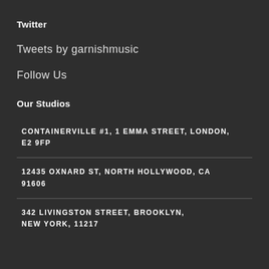Twitter
Tweets by garnishmusic
Follow Us
Our Studios
CONTAINERVILLE #1, 1 EMMA STREET, LONDON, E2 9FP
12435 OXNARD ST, NORTH HOLLYWOOD, CA 91606
342 LIVINGSTON STREET, BROOKLYN, NEW YORK, 11217